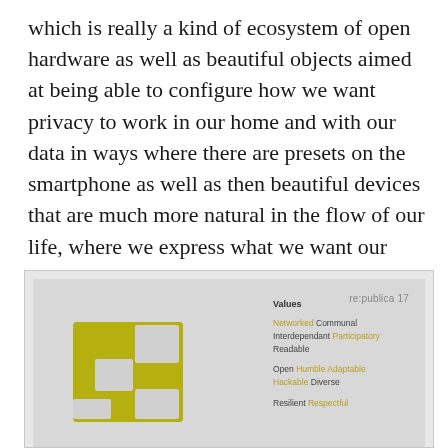which is really a kind of ecosystem of open hardware as well as beautiful objects aimed at being able to configure how we want privacy to work in our home and with our data in ways where there are presets on the smartphone as well as then beautiful devices that are much more natural in the flow of our life, where we express what we want our privacy to be at any particular moment.
[Figure (screenshot): Screenshot of re:publica 17 slide showing a design values diagram. Left side has a large olive/yellow-green logo letter 'a' on a grey background. Right side lists Values: Networked, Communal, Interdependant, Participatory, Readable; Open, Humble, Adaptable, Hackable, Diverse; Resilient, Respectful.]